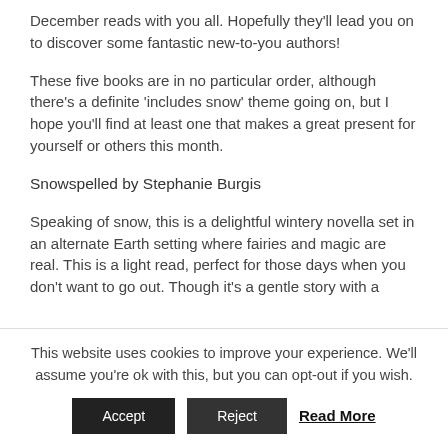December reads with you all. Hopefully they'll lead you on to discover some fantastic new-to-you authors!
These five books are in no particular order, although there's a definite 'includes snow' theme going on, but I hope you'll find at least one that makes a great present for yourself or others this month.
Snowspelled by Stephanie Burgis
Speaking of snow, this is a delightful wintery novella set in an alternate Earth setting where fairies and magic are real. This is a light read, perfect for those days when you don't want to go out. Though it's a gentle story with a
This website uses cookies to improve your experience. We'll assume you're ok with this, but you can opt-out if you wish.
Accept   Reject   Read More